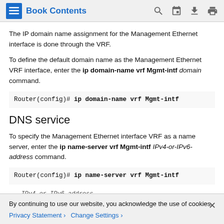Book Contents
The IP domain name assignment for the Management Ethernet interface is done through the VRF.
To define the default domain name as the Management Ethernet VRF interface, enter the ip domain-name vrf Mgmt-intf domain command.
Router(config)# ip domain-name vrf Mgmt-intf
DNS service
To specify the Management Ethernet interface VRF as a name server, enter the ip name-server vrf Mgmt-intf IPv4-or-IPv6-address command.
Router(config)# ip name-server vrf Mgmt-intf
IPv4 or IPv6 address
By continuing to use our website, you acknowledge the use of cookies.
Privacy Statement  Change Settings